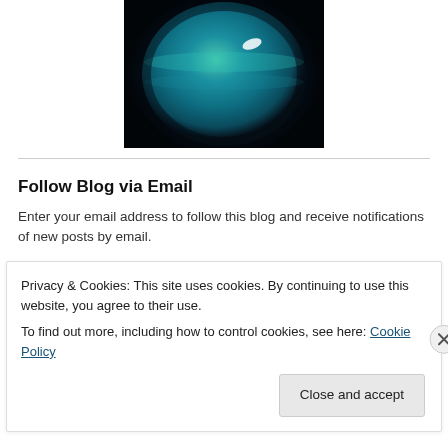[Figure (photo): A blue-teal planet (Neptune) against a dark background, viewed from slightly above, showing swirling clouds and a bright white spot.]
Follow Blog via Email
Enter your email address to follow this blog and receive notifications of new posts by email.
Email Address
Follow
Privacy & Cookies: This site uses cookies. By continuing to use this website, you agree to their use.
To find out more, including how to control cookies, see here: Cookie Policy
Close and accept